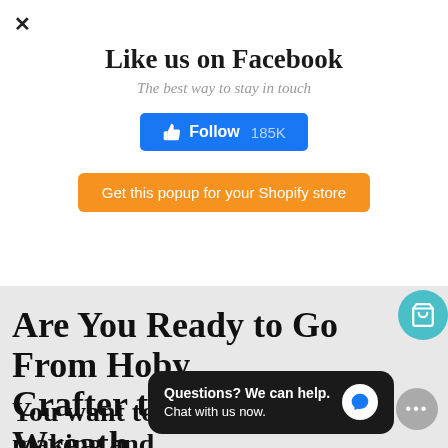[Figure (screenshot): Close (X) button at top left of popup overlay]
Like us on Facebook
The best way to stay in touch
[Figure (infographic): Facebook Follow button showing thumbs up icon, 'Follow' text, and '185K' count in blue button]
[Figure (infographic): Orange button: 'Get this popup for your Shopify store']
Are You Ready to Go From Hobby Crafter to Designer Wreath Maker?
You want to wreath making and your skillset.
[Figure (screenshot): Chat popup widget: 'Questions? We can help. Chat with us now.' with blue chat icon on dark background, and gray '...' round button at right]